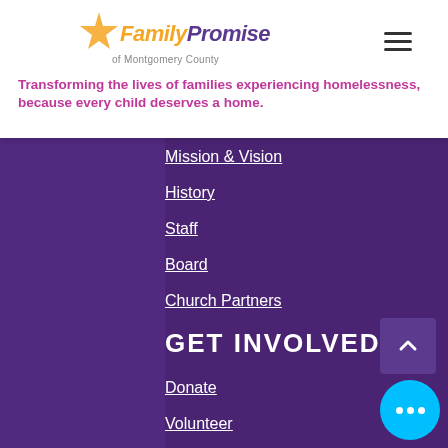[Figure (logo): Family Promise of Montgomery County logo with gold star and purple/gold text]
Transforming the lives of families experiencing homelessness, because every child deserves a home.
Mission & Vision
History
Staff
Board
Church Partners
GET INVOLVED
Donate
Volunteer
Become a Host Site
Wish Lists
Events